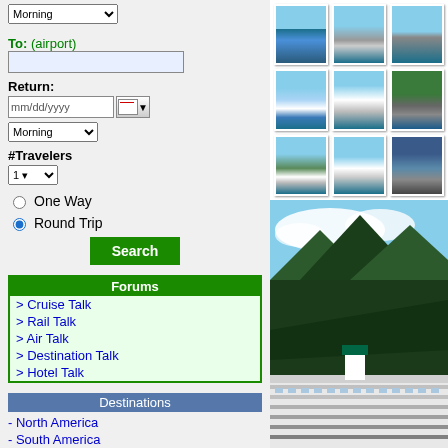To: (airport)
Return:
mm/dd/yyyy
Morning
#Travelers
1
One Way
Round Trip
Search
Forums
> Cruise Talk
> Rail Talk
> Air Talk
> Destination Talk
> Hotel Talk
Destinations
- North America
- South America
- Caribbean
- Central America
- Europe
- Middle East
[Figure (screenshot): Grid of 9 cruise ship thumbnail photos]
[Figure (photo): Large cruise ship docked near green mountains with cloudy sky]